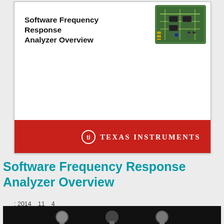[Figure (screenshot): Texas Instruments Software Frequency Response Analyzer Overview video thumbnail/cover slide. White background with bold black title text 'Software Frequency Response Analyzer Overview', a green PCB circuit board image in the top right corner, and a red banner at the bottom featuring the Texas Instruments logo in white.]
Software Frequency Response Analyzer Overview
: 2014  11  4
:: 01:52
Learn more about how TI can help you more quickly tune your digital power supply design using the Software Frequency Response Analyzer, part of powerSUITE Digit
[Figure (photo): Dark/black background with partial view of what appear to be light bulbs or electronic components, bottom of page.]